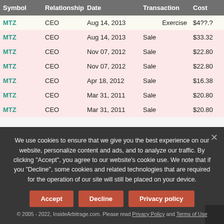| Symbol | Relationship | Date | Transaction | Cost | S |
| --- | --- | --- | --- | --- | --- |
| MTZ | CEO | Aug 14, 2013 | Exercise | $4??.? |  |
| MTZ | CEO | Aug 14, 2013 | Sale | $33.32 | 3 |
| MTZ | CEO | Nov 07, 2012 | Sale | $22.80 | 4 |
| MTZ | CEO | Nov 07, 2012 | Sale | $22.80 | 6 |
| MTZ | CEO | Apr 18, 2012 | Sale | $16.38 | 3 |
| MTZ | CEO | Mar 31, 2011 | Sale | $20.80 | 4 |
| MTZ | CEO | Mar 31, 2011 | Sale | $20.80 | 4 |
We use cookies to ensure that we give you the best experience on our website, personalize content and ads, and to analyze our traffic. By clicking "Accept", you agree to our website's cookie use. We note that if you "Decline", some cookies and related technologies that are required for the operation of our site will still be placed on your device.
© 2005 - 2022, InsideArbitrage.com. Please read Privacy Policy and Terms of Use